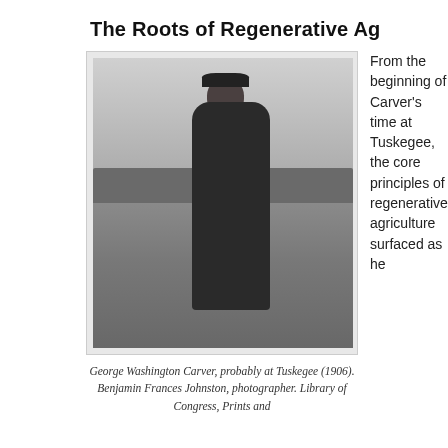The Roots of Regenerative Ag
[Figure (photo): Black and white photograph of George Washington Carver standing in a field, holding something in his hand, wearing a suit and cap, with trees and open land in the background.]
George Washington Carver, probably at Tuskegee (1906). Benjamin Frances Johnston, photographer. Library of Congress, Prints and
From the beginning of Carver’s time at Tuskegee, the core principles of regenerative agriculture surfaced as he